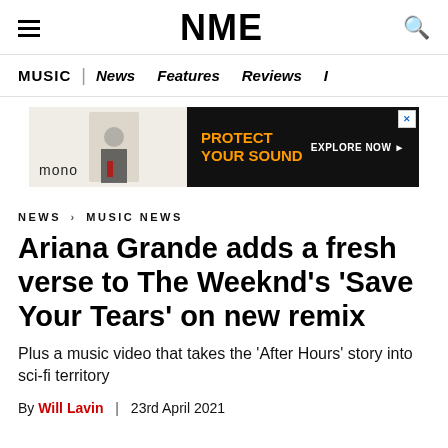NME
MUSIC | News Features Reviews I
[Figure (infographic): Advertisement banner: mono brand logo on left with person image, right side black background with orange text 'PROTECT YOUR SOUND' and white 'EXPLORE NOW' button. X close button in top right corner.]
NEWS › MUSIC NEWS
Ariana Grande adds a fresh verse to The Weeknd's 'Save Your Tears' on new remix
Plus a music video that takes the 'After Hours' story into sci-fi territory
By Will Lavin | 23rd April 2021